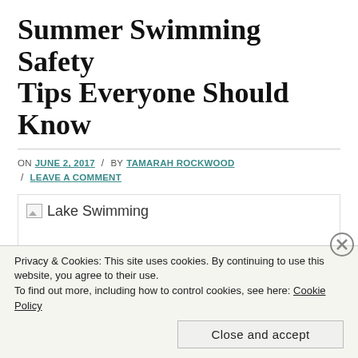Summer Swimming Safety Tips Everyone Should Know
ON JUNE 2, 2017 / BY TAMARAH ROCKWOOD / LEAVE A COMMENT
[Figure (photo): Broken image placeholder labeled 'Lake Swimming']
Privacy & Cookies: This site uses cookies. By continuing to use this website, you agree to their use.
To find out more, including how to control cookies, see here: Cookie Policy
Close and accept